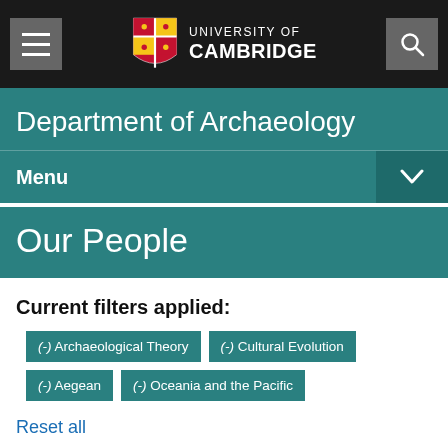University of Cambridge
Department of Archaeology
Menu
Our People
Current filters applied:
(-) Archaeological Theory
(-) Cultural Evolution
(-) Aegean
(-) Oceania and the Pacific
Reset all